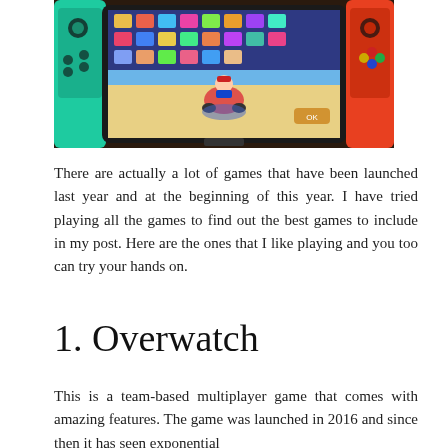[Figure (photo): A Nintendo Switch console displayed in handheld mode showing Mario Kart on screen, with colorful Joy-Con controllers attached — cyan/green on the left and red/orange on the right.]
There are actually a lot of games that have been launched last year and at the beginning of this year. I have tried playing all the games to find out the best games to include in my post. Here are the ones that I like playing and you too can try your hands on.
1. Overwatch
This is a team-based multiplayer game that comes with amazing features. The game was launched in 2016 and since then it has seen exponential